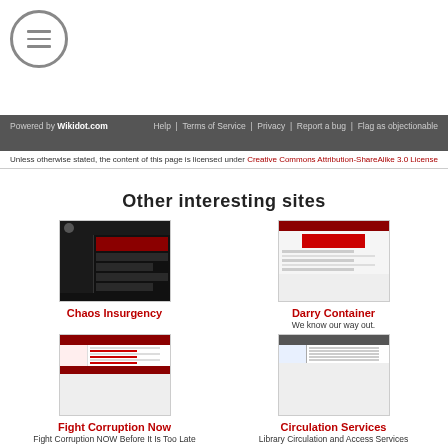[Figure (illustration): Hamburger menu icon: circle with three horizontal lines inside]
Powered by Wikidot.com | Help | Terms of Service | Privacy | Report a bug | Flag as objectionable
Unless otherwise stated, the content of this page is licensed under Creative Commons Attribution-ShareAlike 3.0 License
Other interesting sites
[Figure (screenshot): Chaos Insurgency website thumbnail - dark themed]
Chaos Insurgency
[Figure (screenshot): Darry Container website thumbnail]
Darry Container
We know our way out.
[Figure (screenshot): Fight Corruption Now website thumbnail]
Fight Corruption Now
Fight Corruption NOW Before It Is Too Late
[Figure (screenshot): Circulation Services website thumbnail]
Circulation Services
Library Circulation and Access Services